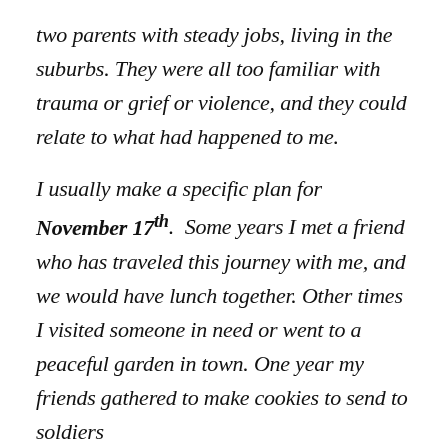two parents with steady jobs, living in the suburbs. They were all too familiar with trauma or grief or violence, and they could relate to what had happened to me.
I usually make a specific plan for November 17th. Some years I met a friend who has traveled this journey with me, and we would have lunch together. Other times I visited someone in need or went to a peaceful garden in town. One year my friends gathered to make cookies to send to soldiers